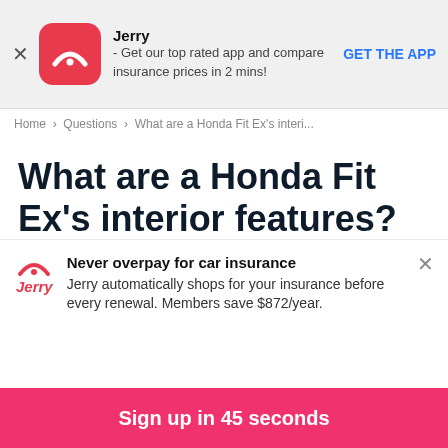Jerry - Get our top rated app and compare insurance prices in 2 mins! GET THE APP
Home > Questions > What are a Honda Fit Ex's interi...
What are a Honda Fit Ex's interior features?
The Honda Fit Ex has got what I need when it comes to gas mileage, price, and overall look. But, I wonder if the cabin is any good. What are the
Never overpay for car insurance
Jerry automatically shops for your insurance before every renewal. Members save $872/year.
Sign up in 45 seconds